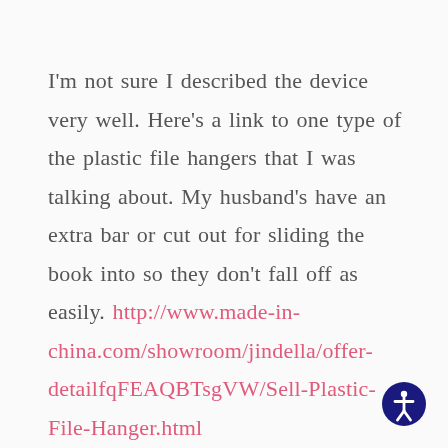I'm not sure I described the device very well. Here's a link to one type of the plastic file hangers that I was talking about. My husband's have an extra bar or cut out for sliding the book into so they don't fall off as easily. http://www.made-in-china.com/showroom/jindella/offer-detailfqFEAQBTsgVW/Sell-Plastic-File-Hanger.html